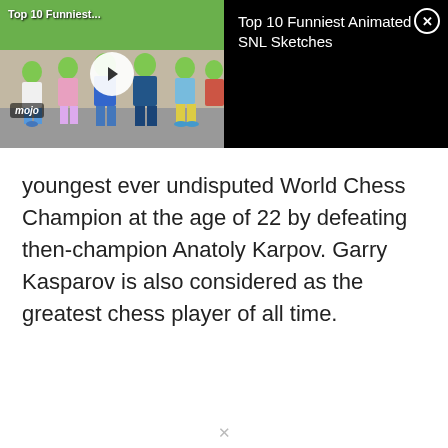[Figure (screenshot): Video player thumbnail showing animated characters (green-skinned cartoon figures) with a play button overlay, and a black panel with video title 'Top 10 Funniest Animated SNL Sketches' and a close button. Thumbnail has 'Top 10 Funniest...' text and 'mojo' logo.]
youngest ever undisputed World Chess Champion at the age of 22 by defeating then-champion Anatoly Karpov. Garry Kasparov is also considered as the greatest chess player of all time.